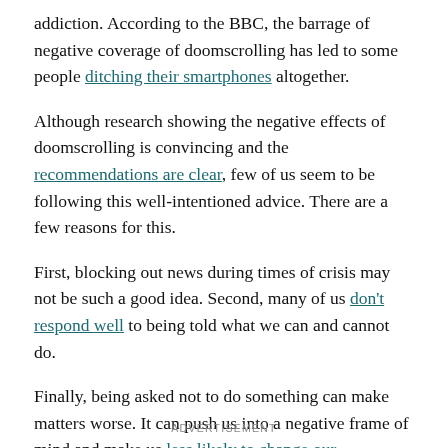addiction. According to the BBC, the barrage of negative coverage of doomscrolling has led to some people ditching their smartphones altogether.
Although research showing the negative effects of doomscrolling is convincing and the recommendations are clear, few of us seem to be following this well-intentioned advice. There are a few reasons for this.
First, blocking out news during times of crisis may not be such a good idea. Second, many of us don't respond well to being told what we can and cannot do.
Finally, being asked not to do something can make matters worse. It can push us into a negative frame of mind and make us less likely to change our behaviour.
ADVERTISEMENT